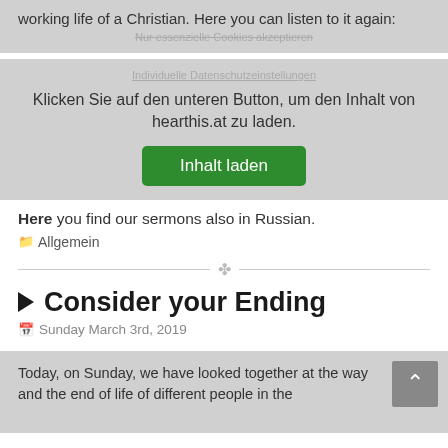working life of a Christian. Here you can listen to it again:
Nur essenzielle Cookies akzeptieren
Individuelle Datenschutzeinstellungen
Klicken Sie auf den unteren Button, um den Inhalt von hearthis.at zu laden.
Inhalt laden
Here you find our sermons also in Russian.
Allgemein
Consider your Ending
Sunday March 3rd, 2019
Today, on Sunday, we have looked together at the way and the end of life of different people in the